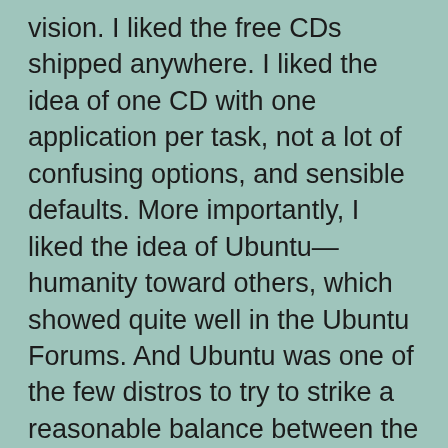vision. I liked the free CDs shipped anywhere. I liked the idea of one CD with one application per task, not a lot of confusing options, and sensible defaults. More importantly, I liked the idea of Ubuntu—humanity toward others, which showed quite well in the Ubuntu Forums. And Ubuntu was one of the few distros to try to strike a reasonable balance between the lofty ideals of Free software zealotry and the pragmatism of proprietarily-licensed software.
Where did Ubuntu go wrong?
For a while, I had high hopes for Ubuntu. Every release seemed to make Ubuntu more